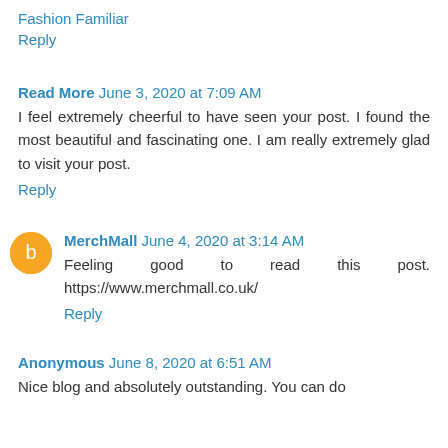Fashion Familiar
Reply
Read More  June 3, 2020 at 7:09 AM
I feel extremely cheerful to have seen your post. I found the most beautiful and fascinating one. I am really extremely glad to visit your post.
Reply
MerchMall  June 4, 2020 at 3:14 AM
Feeling good to read this post. https://www.merchmall.co.uk/
Reply
Anonymous  June 8, 2020 at 6:51 AM
Nice blog and absolutely outstanding. You can do something much better but i still say this perfect.Keep trying for the best.